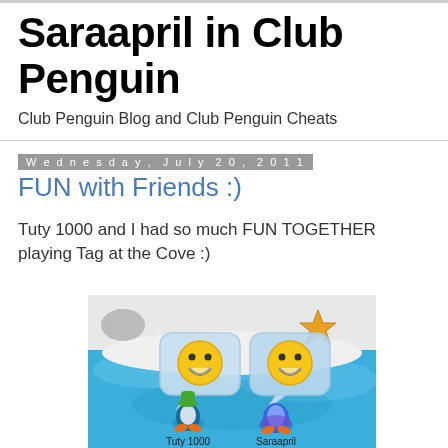Saraapril in Club Penguin
Club Penguin Blog and Club Penguin Cheats
Wednesday, July 20, 2011
FUN with Friends :)
Tuty 1000 and I had so much FUN TOGETHER playing Tag at the Cove :)
[Figure (screenshot): Club Penguin game screenshot showing two penguin characters at the Cove. One penguin named Tuty 1000 wearing a green hat, and one penguin named Saraapril in blue. Both have smiley face emoticons above them in speech bubbles. A starfish and a clam shell are visible in the background.]